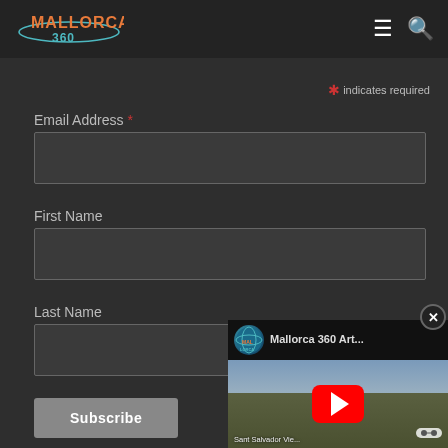[Figure (logo): Mallorca 360 logo in teal/orange text with orbital ring graphic]
* indicates required
Email Address *
First Name
Last Name
Subscribe
[Figure (screenshot): YouTube video thumbnail overlay showing 'Mallorca 360 Art...' with red play button and landscape castle background. Has a close (X) button in top right.]